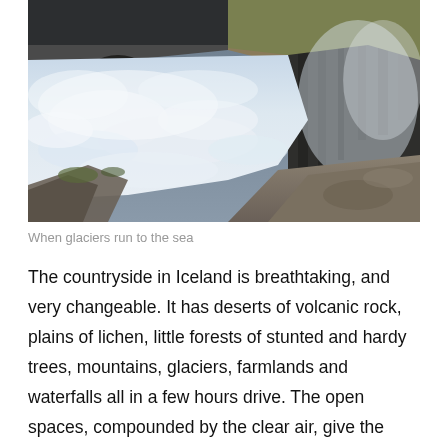[Figure (photo): A dramatic photograph of a large waterfall or glacial rapids crashing into a canyon gorge. White churning water fills the foreground and center, with steep dark basalt canyon walls on the right and background. Rocky outcrops and sparse moss-covered terrain visible in the lower foreground. Misty spray rises on the right side. The scene evokes the Icelandic landscape, likely Gullfoss waterfall.]
When glaciers run to the sea
The countryside in Iceland is breathtaking, and very changeable. It has deserts of volcanic rock, plains of lichen, little forests of stunted and hardy trees, mountains, glaciers, farmlands and waterfalls all in a few hours drive. The open spaces, compounded by the clear air, give the feeling of vast openness that all Australians are familiar